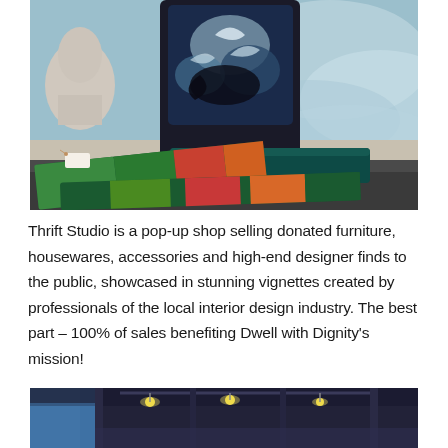[Figure (photo): Person holding up a decorative pillow with blue and white ornate pattern, standing in front of a blue watercolor mural. Decorative pillows on a dark couch in foreground including teal velvet and multi-colored patterned pillows. A white Buddha bust visible on the left.]
Thrift Studio is a pop-up shop selling donated furniture, housewares, accessories and high-end designer finds to the public, showcased in stunning vignettes created by professionals of the local interior design industry. The best part – 100% of sales benefiting Dwell with Dignity's mission!
[Figure (photo): Interior space with dark ceiling, track lighting visible, blue sky or window at left edge.]